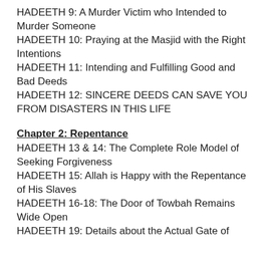HADEETH 9: A Murder Victim who Intended to Murder Someone
HADEETH 10: Praying at the Masjid with the Right Intentions
HADEETH 11: Intending and Fulfilling Good and Bad Deeds
HADEETH 12: SINCERE DEEDS CAN SAVE YOU FROM DISASTERS IN THIS LIFE
Chapter 2: Repentance
HADEETH 13 & 14: The Complete Role Model of Seeking Forgiveness
HADEETH 15: Allah is Happy with the Repentance of His Slaves
HADEETH 16-18: The Door of Towbah Remains Wide Open
HADEETH 19: Details about the Actual Gate of